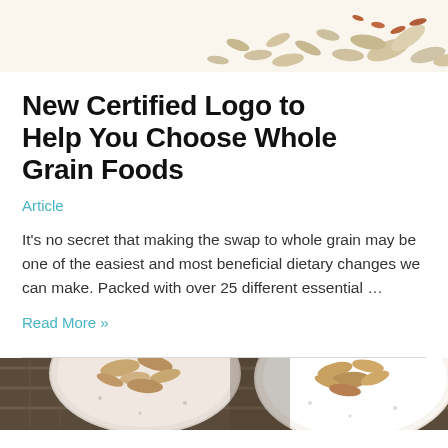[Figure (photo): Top portion of a food/grain image on a cream background, showing oats and seeds spilling]
New Certified Logo to Help You Choose Whole Grain Foods
Article
It's no secret that making the swap to whole grain may be one of the easiest and most beneficial dietary changes we can make. Packed with over 25 different essential …
Read More »
[Figure (photo): Bottom portion showing bowls of oats/granola on a woven mat background]